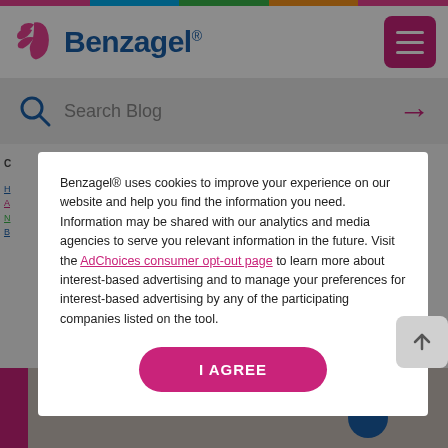[Figure (logo): Benzagel brand logo with pink flowing hair icon and blue bold text 'Benzagel®']
[Figure (other): Magenta menu/hamburger button icon in top right corner]
Search Blog
Benzagel® uses cookies to improve your experience on our website and help you find the information you need. Information may be shared with our analytics and media agencies to serve you relevant information in the future. Visit the AdChoices consumer opt-out page to learn more about interest-based advertising and to manage your preferences for interest-based advertising by any of the participating companies listed on the tool.
I AGREE